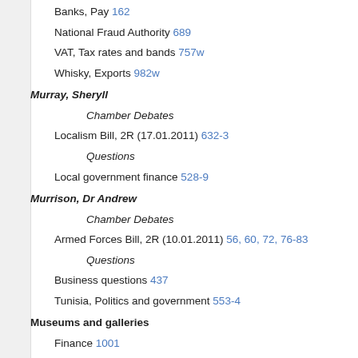Banks, Pay 162
National Fraud Authority 689
VAT, Tax rates and bands 757w
Whisky, Exports 982w
Murray, Sheryll
Chamber Debates
Localism Bill, 2R (17.01.2011) 632-3
Questions
Local government finance 528-9
Murrison, Dr Andrew
Chamber Debates
Armed Forces Bill, 2R (10.01.2011) 56, 60, 72, 76-83
Questions
Business questions 437
Tunisia, Politics and government 553-4
Museums and galleries
Finance 1001
Music
Education 94w